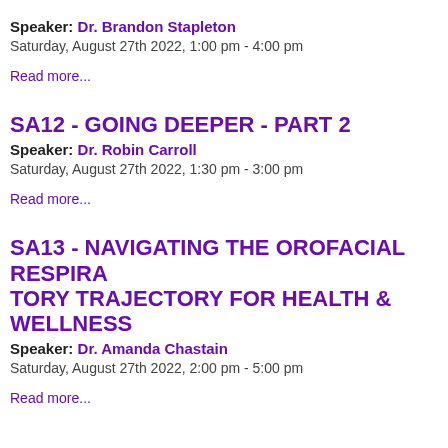Speaker: Dr. Brandon Stapleton
Saturday, August 27th 2022, 1:00 pm - 4:00 pm
Read more...
SA12 - GOING DEEPER - PART 2
Speaker: Dr. Robin Carroll
Saturday, August 27th 2022, 1:30 pm - 3:00 pm
Read more...
SA13 - NAVIGATING THE OROFACIAL RESPIRA TRAJECTORY FOR HEALTH & WELLNESS
Speaker: Dr. Amanda Chastain
Saturday, August 27th 2022, 2:00 pm - 5:00 pm
Read more...